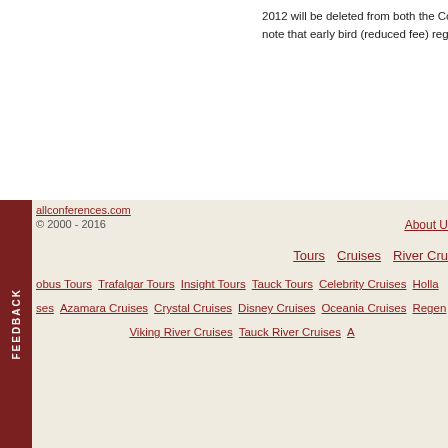2012 will be deleted from both the Confe... note that early bird (reduced fee) registra...
allconferences.com © 2000 - 2016 | About U... | Tours | Cruises | River Cru... | ...obus Tours | Trafalgar Tours | Insight Tours | Tauck Tours | Celebrity Cruises | Holla... | ...ses | Azamara Cruises | Crystal Cruises | Disney Cruises | Oceania Cruises | Regen... | Viking River Cruises | Tauck River Cruises | A...